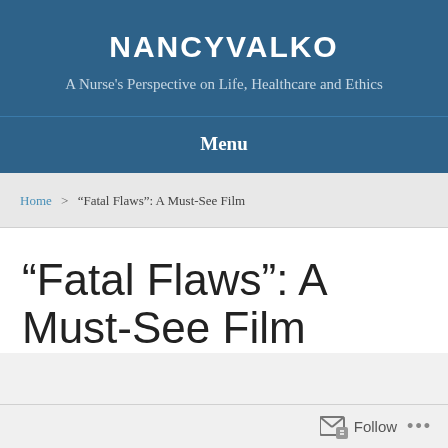NANCYVALKO
A Nurse's Perspective on Life, Healthcare and Ethics
Menu
Home > “Fatal Flaws”: A Must-See Film
“Fatal Flaws”: A Must-See Film